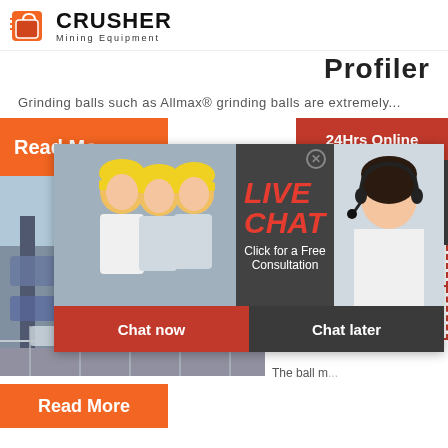[Figure (logo): Crusher Mining Equipment logo with red bag icon and bold black text]
Profiler
Grinding balls such as Allmax® grinding balls are extremely...
[Figure (screenshot): Live chat popup overlay with workers image, LIVE CHAT text in red italic, Click for a Free Consultation, Chat now and Chat later buttons]
[Figure (photo): Industrial conveyor/mining equipment infrastructure photo]
Mineral Processing
The ball m...
[Figure (infographic): Right panel: 24Hrs Online, Need questions & suggestion? Chat Now button, Enquiry section, limingjlmofen@sina.com email]
Read More
Read More